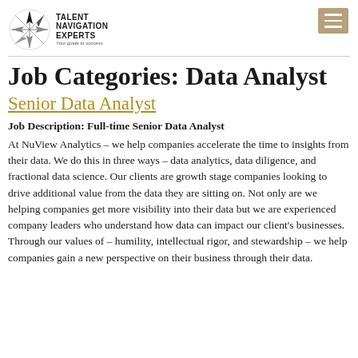Talent Navigation Experts — Your guide to success
Job Categories: Data Analyst
Senior Data Analyst
Job Description: Full-time Senior Data Analyst
At NuView Analytics – we help companies accelerate the time to insights from their data. We do this in three ways – data analytics, data diligence, and fractional data science. Our clients are growth stage companies looking to drive additional value from the data they are sitting on. Not only are we helping companies get more visibility into their data but we are experienced company leaders who understand how data can impact our client's businesses. Through our values of – humility, intellectual rigor, and stewardship – we help companies gain a new perspective on their business through their data.